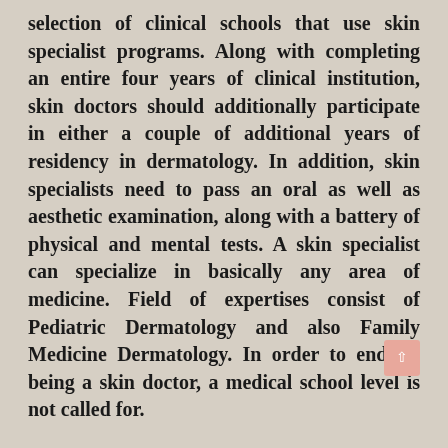selection of clinical schools that use skin specialist programs. Along with completing an entire four years of clinical institution, skin doctors should additionally participate in either a couple of additional years of residency in dermatology. In addition, skin specialists need to pass an oral as well as aesthetic examination, along with a battery of physical and mental tests. A skin specialist can specialize in basically any area of medicine. Field of expertises consist of Pediatric Dermatology and also Family Medicine Dermatology. In order to end up being a skin doctor, a medical school level is not called for.
The more severe individuals do not t...